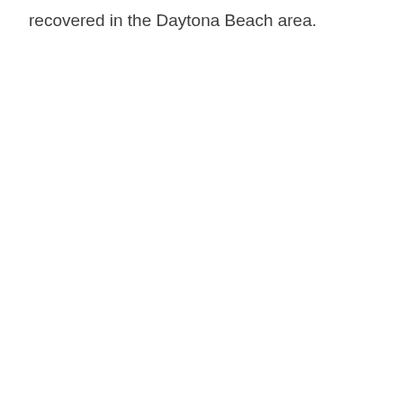recovered in the Daytona Beach area.